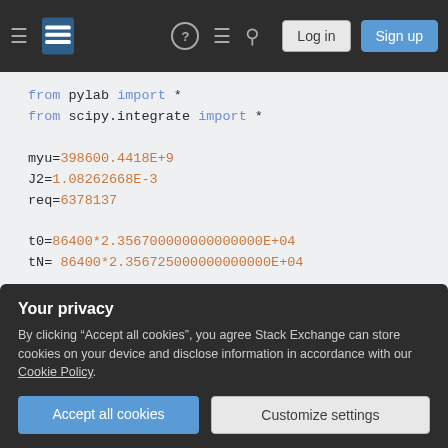Stack Exchange navigation bar with hamburger menu, logo, help, comments, search icons, Log in and Sign up buttons
[Figure (screenshot): Code editor area showing Python code snippet: from pylab import *, from scipy.integrate import *, variable assignments myu, J2, req, t0, tN, y0 array, def f(y,t): function beginning]
Your privacy
By clicking "Accept all cookies", you agree Stack Exchange can store cookies on your device and disclose information in accordance with our Cookie Policy.
Accept all cookies   Customize settings